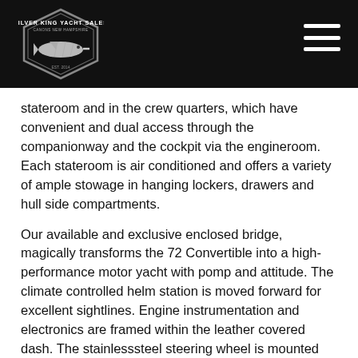[Figure (logo): Silver King Yacht Sales logo — hexagonal badge with a fish/marlin illustration in white on black background]
stateroom and in the crew quarters, which have convenient and dual access through the companionway and the cockpit via the engineroom. Each stateroom is air conditioned and offers a variety of ample stowage in hanging lockers, drawers and hull side compartments.
Our available and exclusive enclosed bridge, magically transforms the 72 Convertible into a high-performance motor yacht with pomp and attitude. The climate controlled helm station is moved forward for excellent sightlines. Engine instrumentation and electronics are framed within the leather covered dash. The stainlesssteel steering wheel is mounted horizontally for fingertip sporty response, and single lever electronic controls keep the power close at hand. An adjustable Stidd leather helm chair with a footrest is flanked by upholstered companion seats atop stowage compartments with sliding drawers for loose gear. Abaft the helm, an L-shape lounge on a raised platform with a